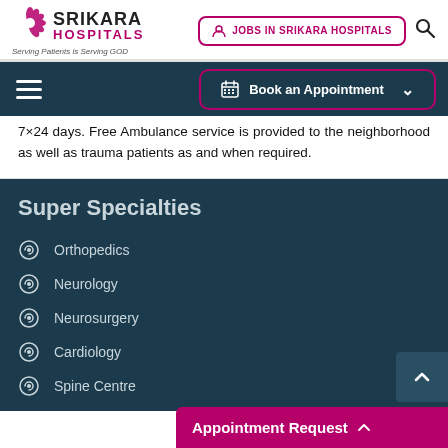[Figure (logo): Srikara Hospitals logo with flower icon and tagline 'Serving Patients is Serving GOD']
JOBS IN SRIKARA HOSPITALS
Book an Appointment
7×24 days. Free Ambulance service is provided to the neighborhood as well as trauma patients as and when required.
Super Specialties
Orthopedics
Neurology
Neurosurgery
Cardiology
Spine Centre
Appointment Request